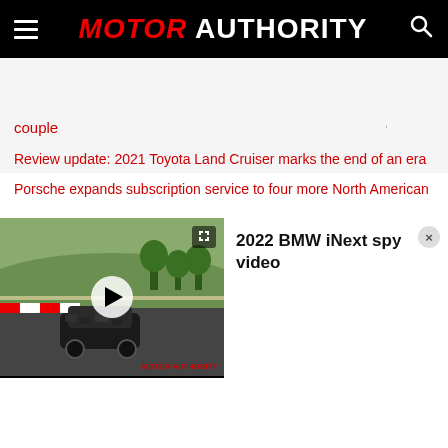MOTOR AUTHORITY
couple
Review update: 2021 Toyota Land Cruiser marks the end of an era
Porsche expands subscription service to four more North American
[Figure (screenshot): Video player widget showing a BMW iNext spy video at a racetrack (Nürburgring), with play button overlay and expand icon. Right panel shows title '2022 BMW iNext spy video' with close button.]